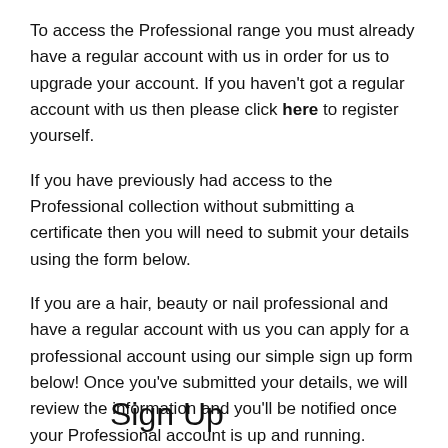To access the Professional range you must already have a regular account with us in order for us to upgrade your account. If you haven't got a regular account with us then please click here to register yourself.
If you have previously had access to the Professional collection without submitting a certificate then you will need to submit your details using the form below.
If you are a hair, beauty or nail professional and have a regular account with us you can apply for a professional account using our simple sign up form below! Once you've submitted your details, we will review the information and you'll be notified once your Professional account is up and running.
Sign Up